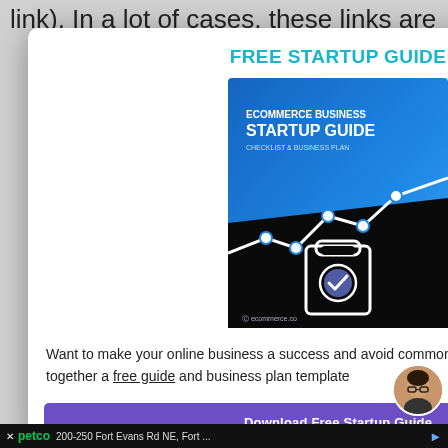link). In a lot of cases, these links are  do follow
Either
d link
FREE STARTUP GUIDE
[Figure (illustration): Book cover for 'Ecommerce Business Startup Guide: Checklist & Business Plan' with blue gradient background, a line graph, and a clipboard icon with a checkmark]
Want to make your online business a success and avoid common mistakes? We've put together a free guide and business plan template
Download Free Startup Guide
petco  200-250 Fort Evans Rd NE, Fort ...